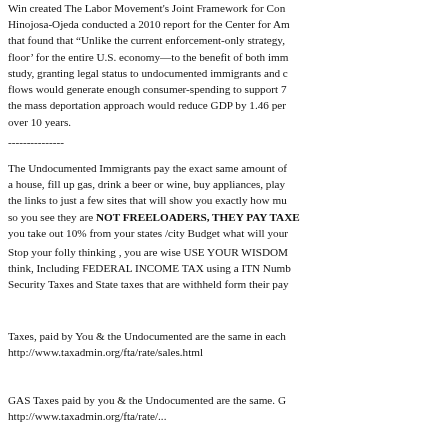Win created The Labor Movement's Joint Framework for Con Hinojosa-Ojeda conducted a 2010 report for the Center for Am that found that "Unlike the current enforcement-only strategy, floor' for the entire U.S. economy—to the benefit of both imm study, granting legal status to undocumented immigrants and c flows would generate enough consumer-spending to support 7 the mass deportation approach would reduce GDP by 1.46 per over 10 years.
---------------
The Undocumented Immigrants pay the exact same amount of a house, fill up gas, drink a beer or wine, buy appliances, play the links to just a few sites that will show you exactly how mu so you see they are NOT FREELOADERS, THEY PAY TAXE you take out 10% from your states /city Budget what will your
Stop your folly thinking , you are wise USE YOUR WISDOM think, Including FEDERAL INCOME TAX using a ITN Numb Security Taxes and State taxes that are withheld form their pay
Taxes, paid by You & the Undocumented are the same in each http://www.taxadmin.org/fta/rate/sales.html
GAS Taxes paid by you & the Undocumented are the same. G http://www.taxadmin.org/fta/rate/...